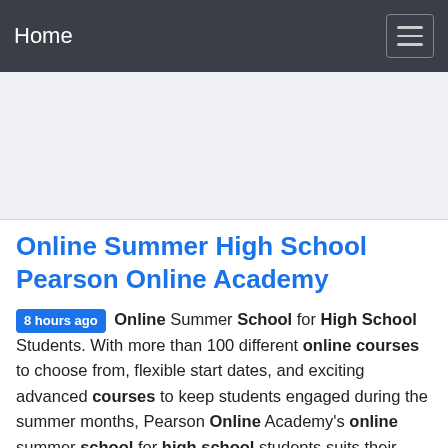Home
[Figure (other): Advertisement / banner placeholder area with light grey background]
Online Summer High School Pearson Online Academy
8 hours ago Online Summer School for High School Students. With more than 100 different online courses to choose from, flexible start dates, and exciting advanced courses to keep students engaged during the summer months, Pearson Online Academy's online summer school for high school students suits their academic needs and busy summer schedules.